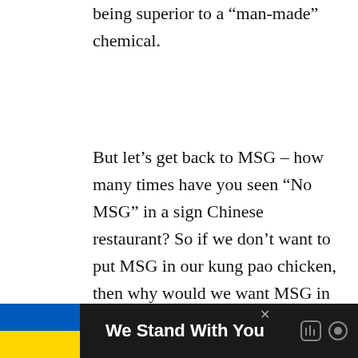being superior to a “man-made” chemical.
But let’s get back to MSG – how many times have you seen “No MSG” in a sign Chinese restaurant? So if we don’t want to put MSG in our kung pao chicken, then why would we want MSG in vaccines?
What we’re going to show in this article is that MSG dangers are a myth. And
[Figure (screenshot): Share button UI overlay: circular badge showing '0' count and a share icon below it, positioned at the right side of the page.]
[Figure (infographic): Bottom advertisement banner: dark background with Ukrainian flag (blue and yellow), bold white text 'We Stand With You', close button X, and media icons on the right.]